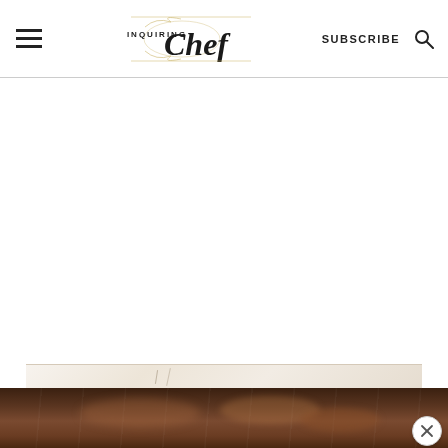Inquiring Chef — SUBSCRIBE
[Figure (photo): Bottom portion of a baking dish with food, partially visible at bottom of page, with a marble surface beneath it and a close/dismiss button in the lower right corner]